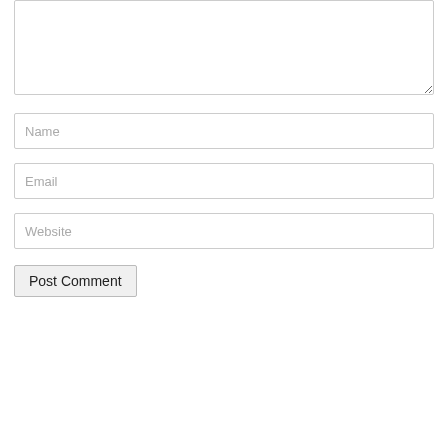[Figure (screenshot): Web comment form with a textarea (partially visible at top, cropped), followed by three text input fields labeled Name, Email, and Website, and a Post Comment submit button.]
Name
Email
Website
Post Comment